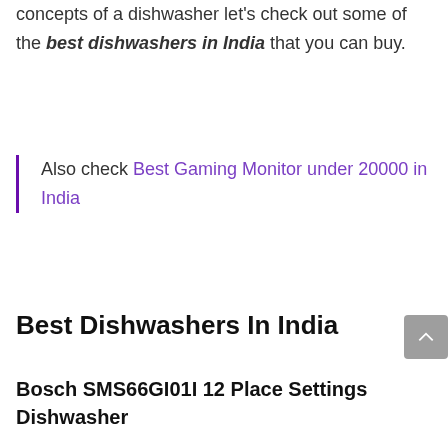concepts of a dishwasher let's check out some of the best dishwashers in India that you can buy.
Also check Best Gaming Monitor under 20000 in India
Best Dishwashers In India
Bosch SMS66GI01I 12 Place Settings Dishwasher